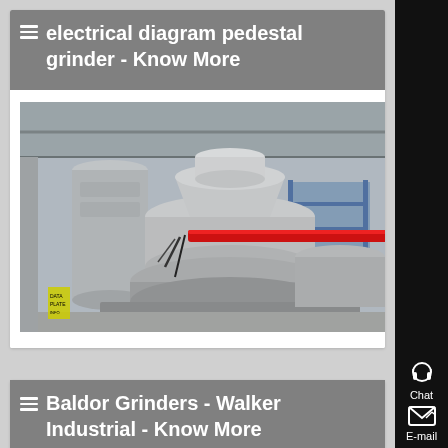≡ electrical diagram pedestal grinder - Know More
[Figure (photo): Industrial grinding/milling machine in a factory setting. Large grey cylindrical machinery with a prominent red pipe/bar, scaffolding visible, taken indoors under a metal roof structure.]
≡ Baldor Grinders - Walker Industrial - Know More